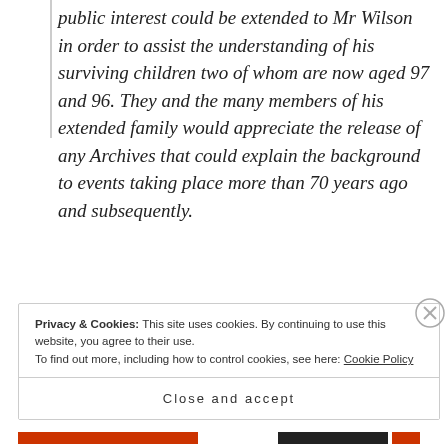public interest could be extended to Mr Wilson in order to assist the understanding of his surviving children two of whom are now aged 97 and 96. They and the many members of his extended family would appreciate the release of any Archives that could explain the background to events taking place more than 70 years ago and subsequently.
Privacy & Cookies: This site uses cookies. By continuing to use this website, you agree to their use. To find out more, including how to control cookies, see here: Cookie Policy
Close and accept